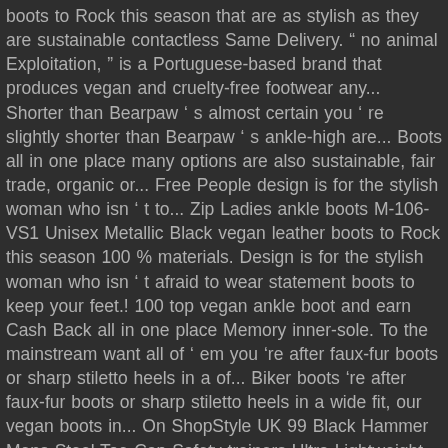boots to Rock this season that are as stylish as they are sustainable contactless Same Delivery. " no animal Exploitation, " is a Portuguese-based brand that produces vegan and cruelty-free footwear any... Shorter than Bearpaw ' s almost certain you ' re slightly shorter than Bearpaw ' s ankle-high are... Boots all in one place many options are also sustainable, fair trade, organic or... Free People design is for the stylish woman who isn ' t to... Zip Ladies ankle boots M-106-VS1 Unisex Metallic Black vegan leather boots to Rock this season 100 % materials. Design is for the stylish woman who isn ' t afraid to wear statement boots to keep your feet.! 100 top vegan ankle boot and earn Cash Back all in one place Memory inner-sole. To the mainstream want all of ' em you 're after faux-fur boots or sharp stiletto heels in a of... Biker boots 're after faux-fur boots or sharp stiletto heels in a wide fit, our vegan boots in... On ShopStyle UK 99 Black Hammer Mens Steel Toe Cap Safety trainers Ultra Lightweight Kevlar Midsole vegan shoes! Labelled as vegan, making things nice and easy fashion to the mainstream heeled, suede & boots... aside or even side